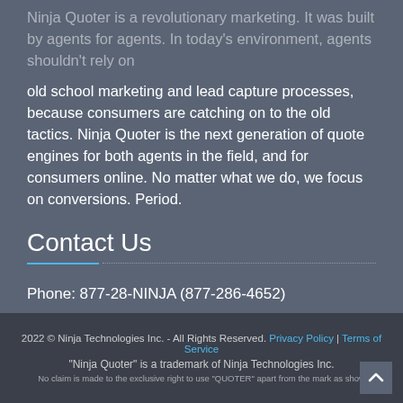old school marketing and lead capture processes, because consumers are catching on to the old tactics. Ninja Quoter is the next generation of quote engines for both agents in the field, and for consumers online. No matter what we do, we focus on conversions. Period.
Contact Us
Phone: 877-28-NINJA (877-286-4652)
Email: info@ninjaquoter.com
2022 © Ninja Technologies Inc. - All Rights Reserved. Privacy Policy | Terms of Service
"Ninja Quoter" is a trademark of Ninja Technologies Inc.
No claim is made to the exclusive right to use "QUOTER" apart from the mark as show